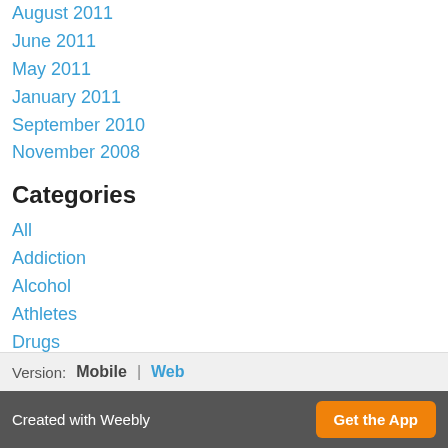August 2011
June 2011
May 2011
January 2011
September 2010
November 2008
Categories
All
Addiction
Alcohol
Athletes
Drugs
Recovery
Sports
RSS Feed
Version: Mobile | Web
Created with Weebly  Get the App